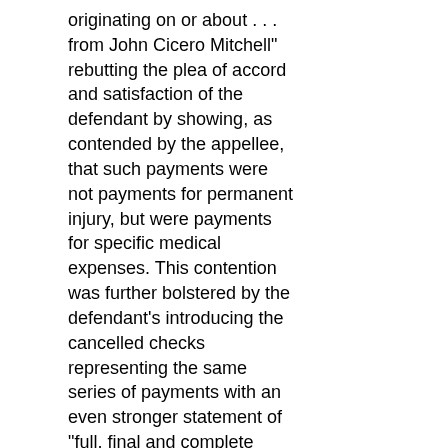originating on or about . . . from John Cicero Mitchell" rebutting the plea of accord and satisfaction of the defendant by showing, as contended by the appellee, that such payments were not payments for permanent injury, but were payments for specific medical expenses. This contention was further bolstered by the defendant's introducing the cancelled checks representing the same series of payments with an even stronger statement of "full, final and complete settlement of any and all liability." Code 38-506; Ga. L. 1952, p. 177 (Code Ann. 38-711).
4. The verdict for bad faith penalty and attorney fees was authorized by the